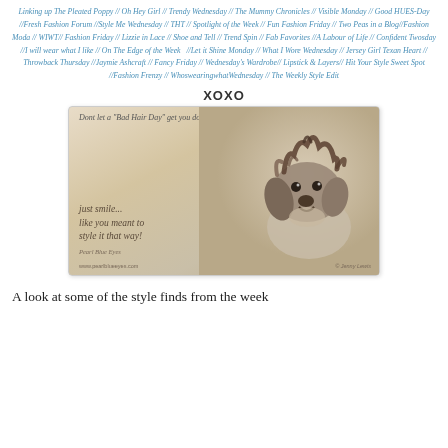Linking up The Pleated Poppy // Oh Hey Girl // Trendy Wednesday // The Mummy Chronicles // Visible Monday // Good HUES-Day //Fresh Fashion Forum //Style Me Wednesday // THT // Spotlight of the Week // Fun Fashion Friday // Two Peas in a Blog//Fashion Moda // WIWT// Fashion Friday // Lizzie in Lace // Shoe and Tell // Trend Spin // Fab Favorites //A Labour of Life // Confident Twosday //I will wear what I like // On The Edge of the Week //Let it Shine Monday // What I Wore Wednesday // Jersey Girl Texan Heart // Throwback Thursday //Jaymie Ashcraft // Fancy Friday // Wednesday's Wardrobe// Lipstick & Layers// Hit Your Style Sweet Spot //Fashion Frenzy // WhoswearingwhatWednesday // The Weekly Style Edit
XOXO
[Figure (photo): A funny dog with messy windblown hair on a beige/tan background. Text overlay reads: 'Dont let a "Bad Hair Day" get you down' at the top, and 'just smile... like you meant to style it that way!' with attribution 'Pearl Blue Eyes' and website 'www.pearlblueeyes.com' at the bottom left. Photo credit '© Jenny Lewis' at bottom right.]
A look at some of the style finds from the week